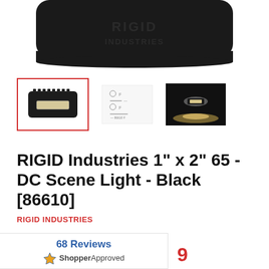[Figure (photo): Top portion of a black RIGID Industries light product, showing the black housing with embossed branding on top, cropped at top of page]
[Figure (photo): Three product thumbnail images: first is selected (red border) showing the light unit front view, second is a spec/diagram sheet with icons and text, third is a dark action photo of the light illuminating ground]
RIGID Industries 1" x 2" 65 - DC Scene Light - Black [86610]
RIGID INDUSTRIES
68 Reviews
[Figure (logo): ShopperApproved logo with star icon]
9